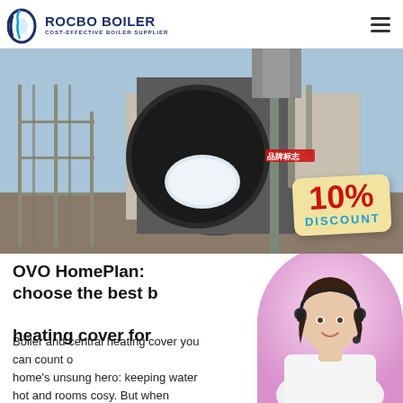ROCBO BOILER — COST-EFFECTIVE BOILER SUPPLIER
[Figure (photo): Industrial boiler installation photograph showing a large cylindrical boiler with a circular front opening, scaffolding on the left, machinery and pipes visible, with a 10% DISCOUNT badge overlay in the bottom right corner]
OVO HomePlan: choose the best boiler and central heating cover for
Boiler and central heating cover you can count on. Your boiler is your home's unsung hero: keeping water hot and rooms cosy. But when